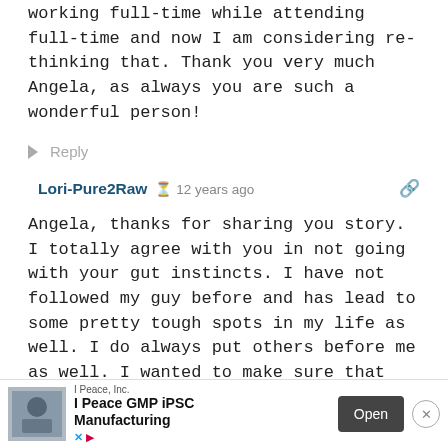working full-time while attending full-time and now I am considering re-thinking that. Thank you very much Angela, as always you are such a wonderful person!
↳ Reply
Lori-Pure2Raw  ⊙ 12 years ago  🔗
Angela, thanks for sharing you story. I totally agree with you in not going with your gut instincts. I have not followed my guy before and has lead to some pretty tough spots in my life as well. I do always put others before me as well. I wanted to make sure that everyone around me was happy than me. Eventually I started to do things for my life and now I am truly happy! Well, I think. HAHA. I look forward in hearing more
[Figure (infographic): Advertisement banner: I Peace, Inc. - I Peace GMP iPSC Manufacturing. Open button. Close (X) button. Social media icons (X/Twitter, play button).]